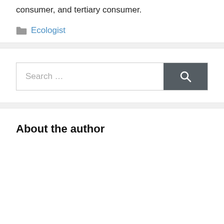consumer, and tertiary consumer.
Ecologist
[Figure (other): Search bar with text 'Search ...' and a dark gray search button with magnifying glass icon]
About the author